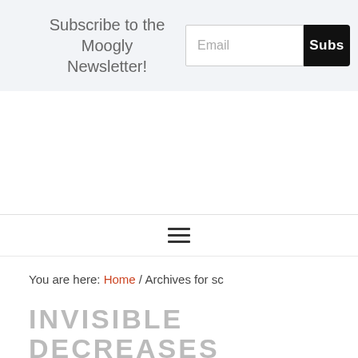Subscribe to the Moogly Newsletter!
You are here: Home / Archives for sc
INVISIBLE DECREASES